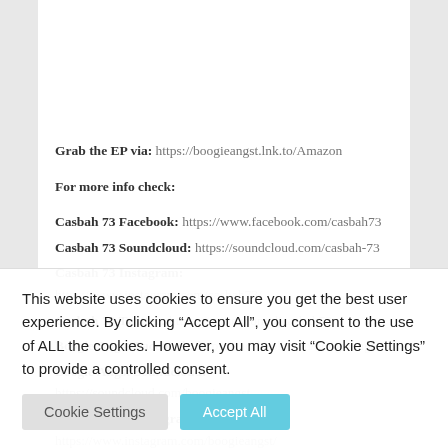Grab the EP via: https://boogieangst.lnk.to/Amazon
For more info check:
Casbah 73 Facebook: https://www.facebook.com/casbah73
Casbah 73 Soundcloud: https://soundcloud.com/casbah-73
Casbah 73 Instagram: https://www.instagram.com/casbah73/
Casbah 73 Twitter: https://twitter.com/djcasbah73
Boogie Angst Facebook: https://facebook.com/boogieangst
Boogie Angst Soundcloud: https://soundcloud.com/boogieangst
Boogie Angst Instagram: https://www.instagram.com/boogieangst/
This website uses cookies to ensure you get the best user experience. By clicking “Accept All”, you consent to the use of ALL the cookies. However, you may visit “Cookie Settings” to provide a controlled consent.